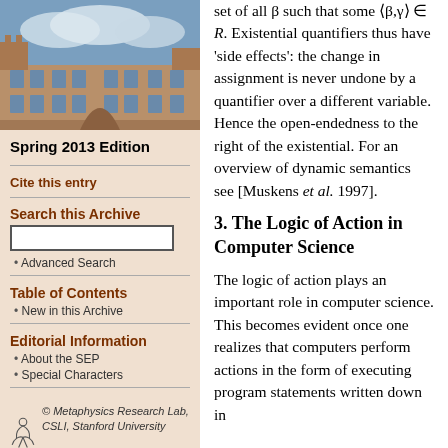[Figure (photo): Photograph of a historic stone university building with towers and arches under a cloudy sky]
Spring 2013 Edition
Cite this entry
Search this Archive
Advanced Search
Table of Contents
New in this Archive
Editorial Information
About the SEP
Special Characters
[Figure (logo): Metaphysics Research Lab, CSLI, Stanford University logo with stylized figure]
set of all β such that some ⟨β,γ⟩ ∈ R. Existential quantifiers thus have 'side effects': the change in assignment is never undone by a quantifier over a different variable. Hence the open-endedness to the right of the existential. For an overview of dynamic semantics see [Muskens et al. 1997].
3. The Logic of Action in Computer Science
The logic of action plays an important role in computer science. This becomes evident once one realizes that computers perform actions in the form of executing program statements written down in